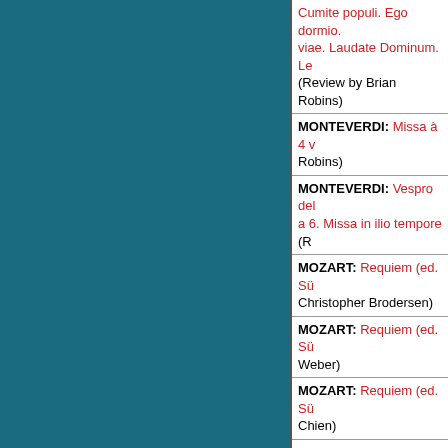Cumite populi. Ego dormio. viae. Laudate Dominum. Le (Review by Brian Robins)
MONTEVERDI: Missa à 4 v Robins)
MONTEVERDI: Vespro del a 6. Missa in ilio tempore (R
MOZART: Requiem (ed. Sü Christopher Brodersen)
MOZART: Requiem (ed. Sü Weber)
MOZART: Requiem (ed. Sü Chien)
PIZZETTI: 3 composizioni e Brenesal)
POOLE: The Eye of the Bla Meltzer)
PUCCINI I, GIACOMO: Dix Michael Carter)
PUCCINI I, GIACOMO: Dixi Laudate Pueri (Review by C
PUCCINI I, GIACOMO: I D Laudate pu eri (Review by
PUCCINI I, GIACOMO: Mu Zeichner)